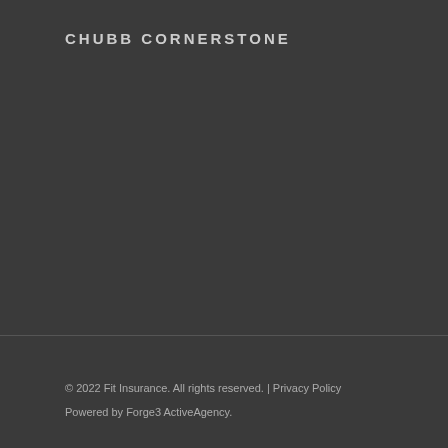CHUBB CORNERSTONE
© 2022 Fit Insurance. All rights reserved. | Privacy Policy
Powered by Forge3 ActiveAgency.